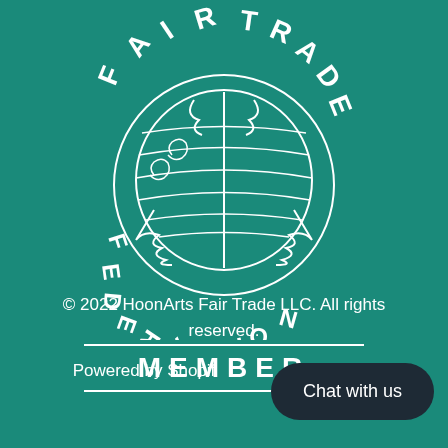[Figure (logo): Fair Trade Federation circular logo with decorative globe imagery and the words FAIR TRADE around the top and FEDERATION around the bottom, white on teal background, with MEMBER text and double horizontal rules below]
© 2022 HoonArts Fair Trade LLC. All rights reserved.
Powered by Shopify
Chat with us